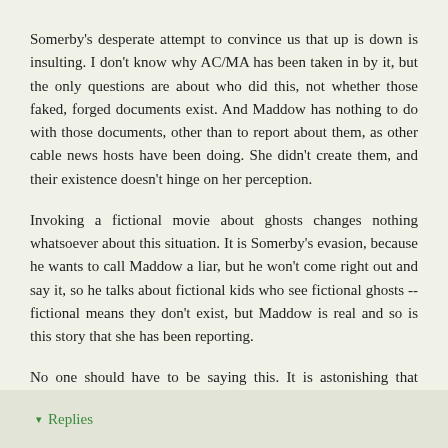Somerby's desperate attempt to convince us that up is down is insulting. I don't know why AC/MA has been taken in by it, but the only questions are about who did this, not whether those faked, forged documents exist. And Maddow has nothing to do with those documents, other than to report about them, as other cable news hosts have been doing. She didn't create them, and their existence doesn't hinge on her perception.
Invoking a fictional movie about ghosts changes nothing whatsoever about this situation. It is Somerby's evasion, because he wants to call Maddow a liar, but he won't come right out and say it, so he talks about fictional kids who see fictional ghosts -- fictional means they don't exist, but Maddow is real and so is this story that she has been reporting.
No one should have to be saying this. It is astonishing that Somerby and the right would try to fool people this way.
Reply
▾ Replies